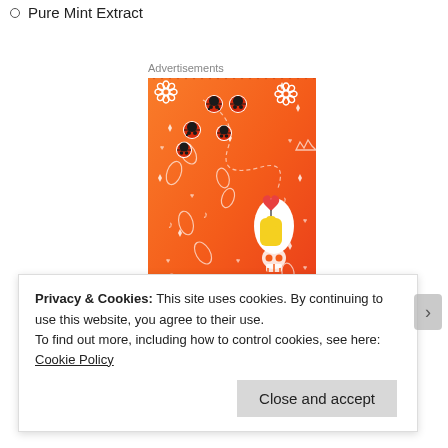Pure Mint Extract
Advertisements
[Figure (illustration): Orange gradient background advertisement banner with doodle-style illustrations including ladybugs, flowers, musical notes, hearts, a skull, cartoon leaf characters, a Korean finger-heart gesture, and various decorative elements in white outline style.]
Privacy & Cookies: This site uses cookies. By continuing to use this website, you agree to their use.
To find out more, including how to control cookies, see here: Cookie Policy
Close and accept